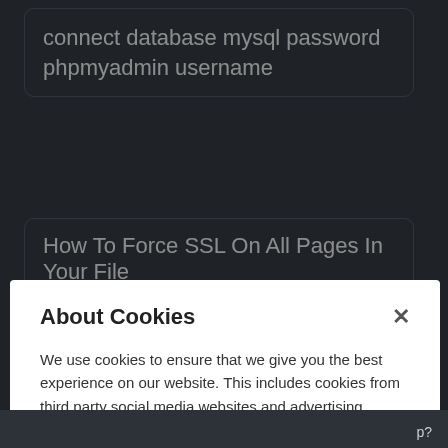connect database mysql password phpmyadmin username
How To Force SSL On All Pages In Your File
About Cookies
We use cookies to ensure that we give you the best experience on our website. This includes cookies from third party social media websites and advertising cookies that may analyze your use of this site. Click "Got it" to agree or "Cookie Settings" to opt out.
Cookie Notice
Got It
Cookies Settings